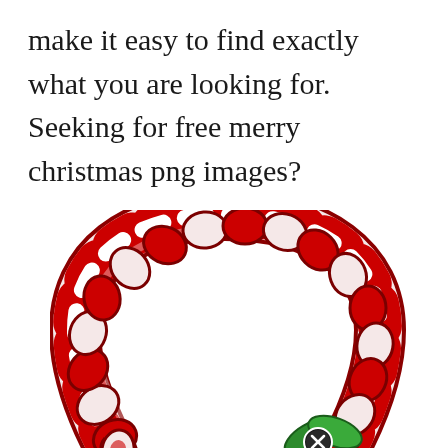make it easy to find exactly what you are looking for. Seeking for free merry christmas png images?
[Figure (illustration): Cartoon-style candy cane wreath shape made of red and white twisted candy, forming an arch/circle. At the bottom right is a green holly leaf decoration with a circular icon showing an X symbol.]